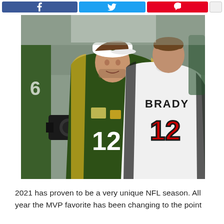[Figure (photo): Two NFL quarterbacks facing each other — Aaron Rodgers in Green Bay Packers #12 green jersey and white cap, and Tom Brady in Tampa Bay Buccaneers #12 white jersey with BRADY nameplate, standing on a sideline]
2021 has proven to be a very unique NFL season. All year the MVP favorite has been changing to the point